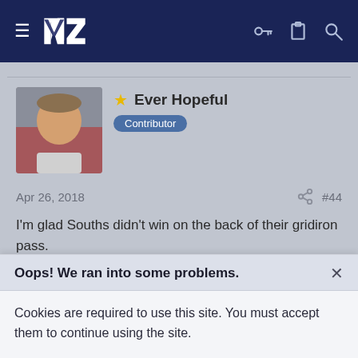[Figure (screenshot): Website navigation bar with dark navy background, hamburger menu icon, NZ Warriors logo, and icons for key, clipboard, and search on the right]
Ever Hopeful
Contributor
Apr 26, 2018
#44
I'm glad Souths didn't win on the back of their gridiron pass.

I find Souths a dour team to watch, whereas the Broncos have got some really exciting new forwards.
Reply
Oops! We ran into some problems.
Cookies are required to use this site. You must accept them to continue using the site.